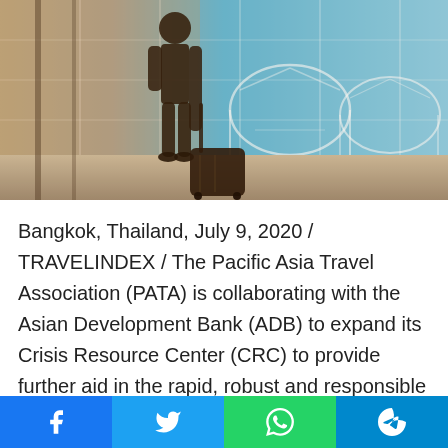[Figure (photo): Silhouette of a traveler with rolling luggage standing at an airport terminal with large glass windows and modern architecture in the background, warm orange backlighting on the left, blue sky visible.]
Bangkok, Thailand, July 9, 2020 / TRAVELINDEX / The Pacific Asia Travel Association (PATA) is collaborating with the Asian Development Bank (ADB) to expand its Crisis Resource Center (CRC) to provide further aid in the rapid, robust and responsible renewal of the Asia Pacific travel and tourism industry.
“Timely, accurate, and useful information is the need of the moment for our members as they manage their recovery from